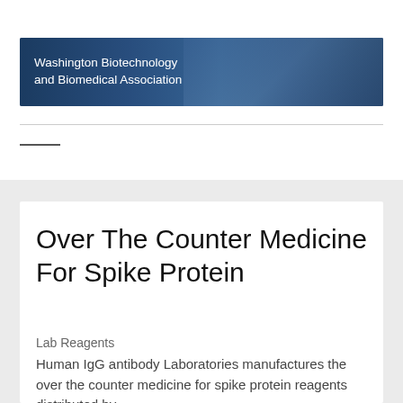[Figure (logo): Washington Biotechnology and Biomedical Association banner with blue background, Space Needle silhouette and DNA helix imagery]
Over The Counter Medicine For Spike Protein
Lab Reagents
Human IgG antibody Laboratories manufactures the over the counter medicine for spike protein reagents distributed by